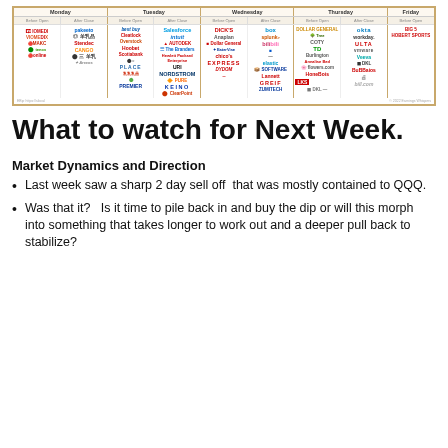[Figure (table-as-image): Earnings calendar table showing company logos organized by day of the week (Monday through Friday) and time (Before Open / After Close), featuring logos of companies like Salesforce, Intuit, Dick's Sporting Goods, Box, Splunk, Okta, Viomed, pakeeto, Anaplan, Bilibili, COTY, Workday, ULTA, TD Bank, Nordstrom, Express, Elastic, 1-800-Flowers, Lannett, HoneBois, Greif, bill.com, HP, Zumiez, and many others.]
What to watch for Next Week.
Market Dynamics and Direction
Last week saw a sharp 2 day sell off  that was mostly contained to QQQ.
Was that it?   Is it time to pile back in and buy the dip or will this morph into something that takes longer to work out and a deeper pull back to stabilize?